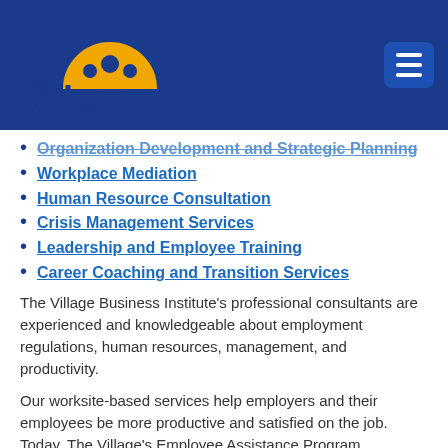[Figure (logo): The Village Family Service Center logo with a golden arch/sun, blue text reading 'The Village' and 'FAMILY SERVICE CENTER']
Organization Development and Strategic Planning
Workplace Mediation
Human Resource Consultation
Crisis Management Services
Leadership and Employee Training
Career Coaching and Transition Services
The Village Business Institute’s professional consultants are experienced and knowledgeable about employment regulations, human resources, management, and productivity.
Our worksite-based services help employers and their employees be more productive and satisfied on the job. Today, The Village’s Employee Assistance Program,